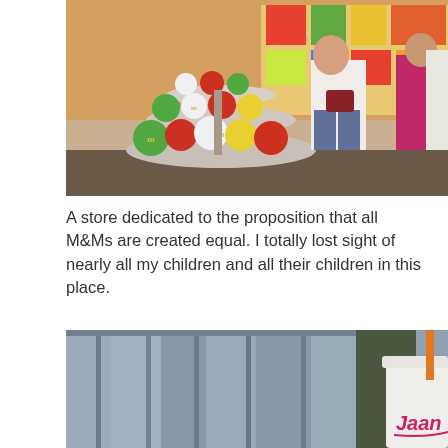[Figure (photo): Interior of an M&Ms store showing a tiered display rack with colorful M&M plush toys and merchandise. Several shoppers are visible browsing the store, with colorful merchandise visible on shelves in the background.]
A store dedicated to the proposition that all M&Ms are created equal. I totally lost sight of nearly all my children and all their children in this place.
[Figure (photo): Close-up view of blue/grey clothing items hanging on a rack, with a person holding a white bucket/cup with partial text reading 'Jaan' visible on the right side.]